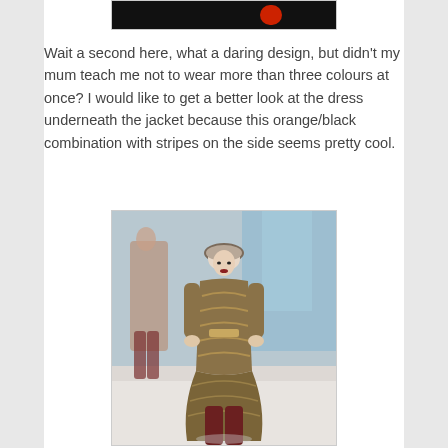[Figure (photo): Partial top image showing a dark background with an orange/red element, cropped at top of page]
Wait a second here, what a daring design, but didn't my mum teach me not to wear more than three colours at once? I would like to get a better look at the dress underneath the jacket because this orange/black combination with stripes on the side seems pretty cool.
[Figure (photo): Fashion runway photo of a model wearing a brown/gold long coat with chevron pattern details, a fedora hat, and dark red/burgundy tights. Another model visible in background wearing similar earth-toned outfit.]